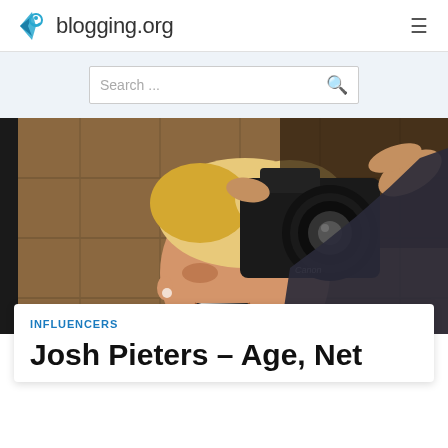blogging.org
[Figure (photo): A young man with blond hair taking a mirror selfie with a Canon DSLR camera, smiling/laughing, tiled wall background]
INFLUENCERS
Josh Pieters – Age, Net